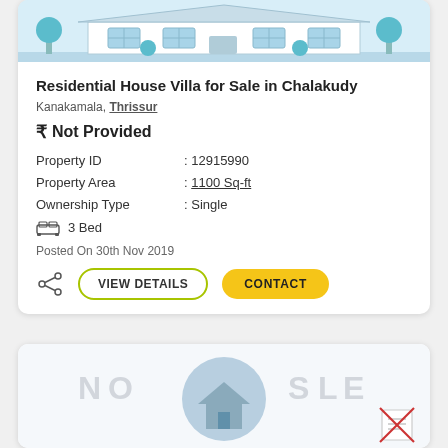[Figure (illustration): Illustrated house/villa with trees and driveway in blue color scheme]
Residential House Villa for Sale in Chalakudy
Kanakamala, Thrissur
₹ Not Provided
| Property ID | : 12915990 |
| Property Area | : 1100 Sq-ft |
| Ownership Type | : Single |
3 Bed
Posted On 30th Nov 2019
[Figure (illustration): Second property card with circular image placeholder and no-sale watermark text, document icon with red cross]